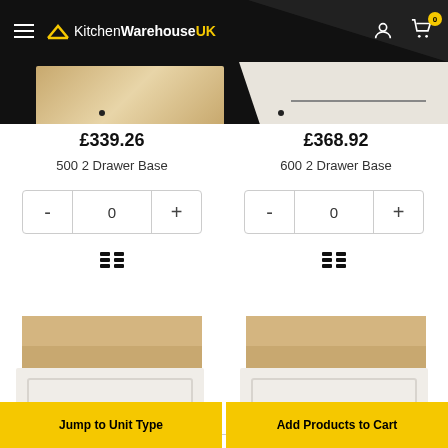[Figure (screenshot): KitchenWarehouseUK website header with black background, hamburger menu, logo, user icon, and cart icon with badge 0]
[Figure (photo): Banner strip showing partial kitchen drawer units on dark/light background]
£339.26
500 2 Drawer Base
£368.92
600 2 Drawer Base
[Figure (screenshot): Quantity selector showing - 0 + for 500 2 Drawer Base]
[Figure (screenshot): Quantity selector showing - 0 + for 600 2 Drawer Base]
[Figure (photo): Photo of 500 2 Drawer Base kitchen unit with white shaker-style drawer front partially open]
[Figure (photo): Photo of 600 2 Drawer Base kitchen unit with white shaker-style drawer front partially open]
Jump to Unit Type
Add Products to Cart